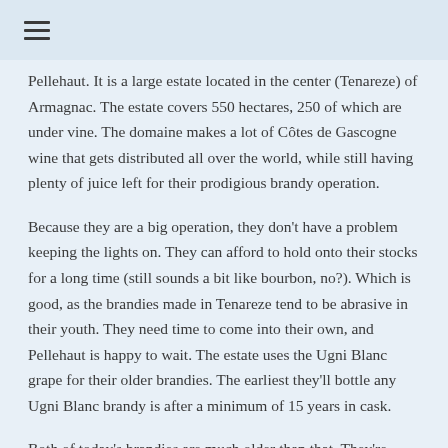≡
Pellehaut. It is a large estate located in the center (Tenareze) of Armagnac. The estate covers 550 hectares, 250 of which are under vine. The domaine makes a lot of Côtes de Gascogne wine that gets distributed all over the world, while still having plenty of juice left for their prodigious brandy operation.
Because they are a big operation, they don't have a problem keeping the lights on. They can afford to hold onto their stocks for a long time (still sounds a bit like bourbon, no?). Which is good, as the brandies made in Tenareze tend to be abrasive in their youth. They need time to come into their own, and Pellehaut is happy to wait. The estate uses the Ugni Blanc grape for their older brandies. The earliest they'll bottle any Ugni Blanc brandy is after a minimum of 15 years in cask.
Both of today's brandies are much older than that. They're vintage brandies from 1989; a 31 year old bottled in 2020 (49.9% ABV), and a 32 year old bottled in 2021 (49.5% ABV). I thought it might be fun to jump into the deep end and see how different